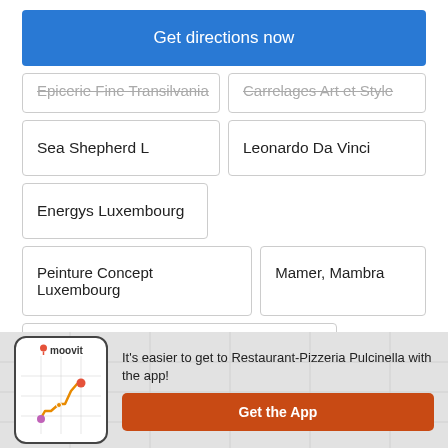Get directions now
Epicerie Fine Transilvania
Carrelages Art et Style
Sea Shepherd L
Leonardo Da Vinci
Energys Luxembourg
Peinture Concept Luxembourg
Mamer, Mambra
Eyes Empower Your E-Business Strategy
It's easier to get to Restaurant-Pizzeria Pulcinella with the app!
Get the App